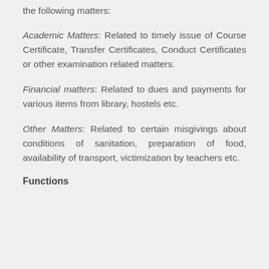the following matters:
Academic Matters: Related to timely issue of Course Certificate, Transfer Certificates, Conduct Certificates or other examination related matters.
Financial matters: Related to dues and payments for various items from library, hostels etc.
Other Matters: Related to certain misgivings about conditions of sanitation, preparation of food, availability of transport, victimization by teachers etc.
Functions